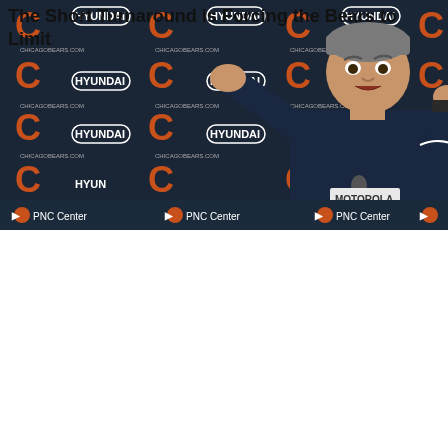[Figure (photo): Aaron Rodgers in a locker room, wearing a dark teal athletic shirt and a cap, looking surprised or exasperated. Lockers visible in the background.]
Aaron Rodgers is Already Complaining About His Receivers
[Figure (photo): Chicago Bears press conference. A man in a dark navy shirt gesturing with his hands in front of a Bears/Hyundai/PNC Center branded backdrop. Multiple Chicago Bears and Hyundai logos visible on the press conference backdrop.]
The Short Turnaround is Forcing the Bears to Limit